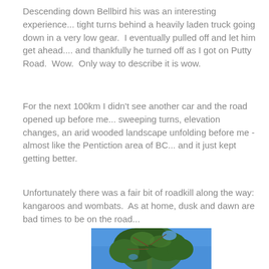Descending down Bellbird his was an interesting experience... tight turns behind a heavily laden truck going down in a very low gear.  I eventually pulled off and let him get ahead.... and thankfully he turned off as I got on Putty Road.  Wow.  Only way to describe it is wow.
For the next 100km I didn't see another car and the road opened up before me... sweeping turns, elevation changes, an arid wooded landscape unfolding before me - almost like the Pentiction area of BC... and it just kept getting better.
Unfortunately there was a fair bit of roadkill along the way: kangaroos and wombats.  As at home, dusk and dawn are bad times to be on the road...
[Figure (photo): A eucalyptus tree with green foliage against a bright blue sky, photographed from below looking up.]